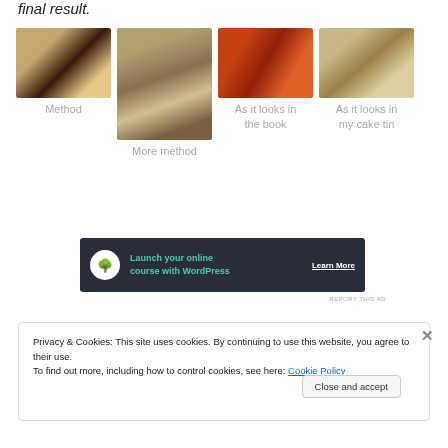final result.
[Figure (photo): Four food/recipe photos in a row: coffee/food close-up, recipe book pages, baked good close-up, baked good in cake tin]
Method
More method
As it looks in the book
As it looks in my cake tin
[Figure (infographic): Dark ad banner: Launch your online course with WordPress - Learn More]
REPORT THIS AD
Privacy & Cookies: This site uses cookies. By continuing to use this website, you agree to their use.
To find out more, including how to control cookies, see here: Cookie Policy
Close and accept